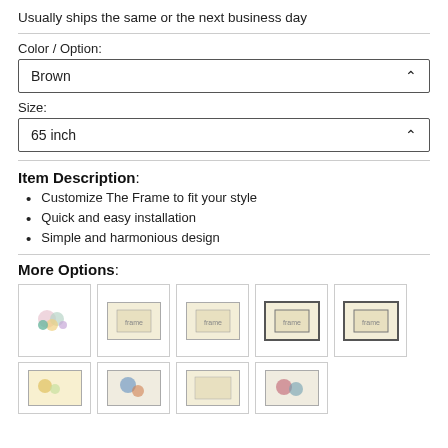Usually ships the same or the next business day
Color / Option:
Brown
Size:
65 inch
Item Description:
Customize The Frame to fit your style
Quick and easy installation
Simple and harmonious design
More Options:
[Figure (photo): Row of 5 product thumbnail images showing frame options]
[Figure (photo): Row of 4 partially visible product thumbnail images showing more frame options]